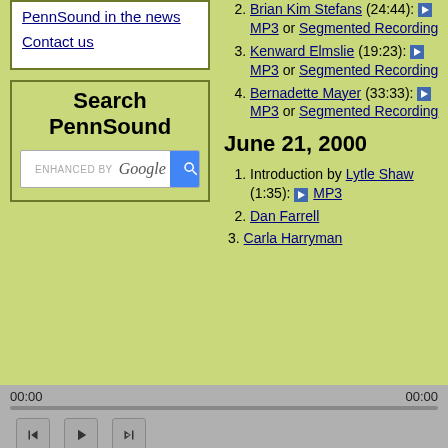PennSound in the news
Contact us
Search PennSound
[Figure (screenshot): Google enhanced search bar for PennSound]
2. Brian Kim Stefans (24:44): ▶ MP3 or Segmented Recording
3. Kenward Elmslie (19:23): ▶ MP3 or Segmented Recording
4. Bernadette Mayer (33:33): ▶ MP3 or Segmented Recording
June 21, 2000
1. Introduction by Lytle Shaw (1:35): ▶ MP3
2. Dan Farrell
3. Carla Harryman